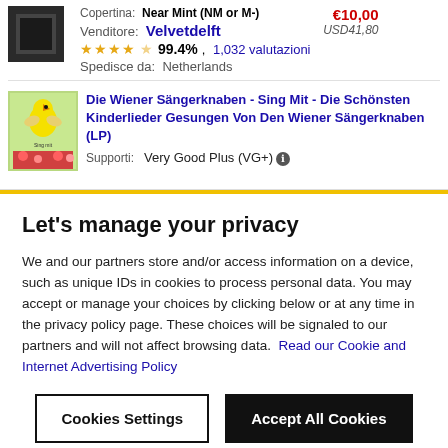Copertina: Near Mint (NM or M-)
Venditore: Velvetdelft
99.4%, 1,032 valutazioni
Spedisce da: Netherlands
€10,00 USD41,80
Die Wiener Sängerknaben - Sing Mit - Die Schönsten Kinderlieder Gesungen Von Den Wiener Sängerknaben (LP)
Supporti: Very Good Plus (VG+)
Let's manage your privacy
We and our partners store and/or access information on a device, such as unique IDs in cookies to process personal data. You may accept or manage your choices by clicking below or at any time in the privacy policy page. These choices will be signaled to our partners and will not affect browsing data. Read our Cookie and Internet Advertising Policy
Cookies Settings
Accept All Cookies